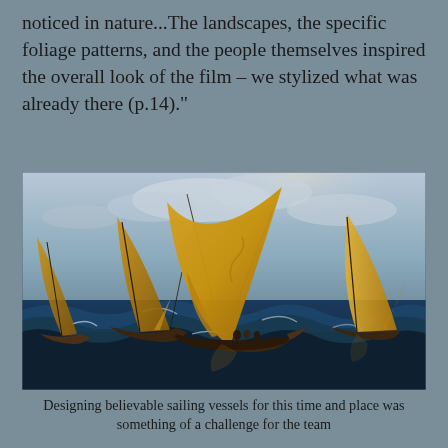noticed in nature...The landscapes, the specific foliage patterns, and the people themselves inspired the overall look of the film – we stylized what was already there (p.14)."
[Figure (illustration): Concept art showing multiple Polynesian sailing vessels (wakas/canoes) with large golden-yellow sails navigating rough dark blue ocean waves under a dramatic cloudy sky.]
Designing believable sailing vessels for this time and place was something of a challenge for the team
What inspired the Ron Clements and John Musker who brought Moana to life as the did The Little Mermaid was something told to them by Papa Mape, a Tahitian fisherman, and he told them to "look at whi..."